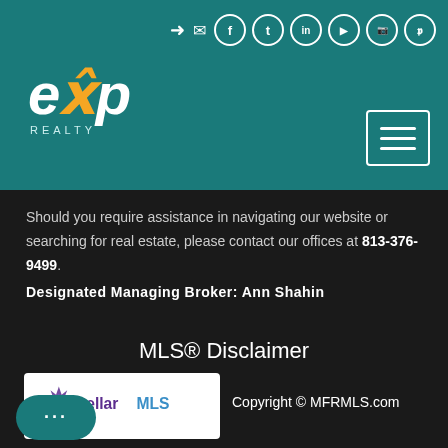[Figure (logo): eXp Realty logo on teal header background with social media icons and hamburger menu]
Should you require assistance in navigating our website or searching for real estate, please contact our offices at 813-376-9499.
Designated Managing Broker: Ann Shahin
MLS® Disclaimer
[Figure (logo): Stellar MLS logo — white background with purple/blue star burst icon and StellarMLS text in purple and blue]
Copyright © MFRMLS.com
All information deemed reliable but not guaranteed. All listings are subject to prior sale, change or withdrawal. Neither listing broker(s) or information provider(s) shall be responsible for any typographical